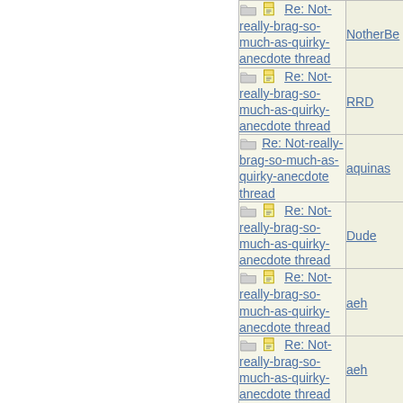| Subject | Author |
| --- | --- |
| Re: Not-really-brag-so-much-as-quirky-anecdote thread | NotherBe |
| Re: Not-really-brag-so-much-as-quirky-anecdote thread | RRD |
| Re: Not-really-brag-so-much-as-quirky-anecdote thread | aquinas |
| Re: Not-really-brag-so-much-as-quirky-anecdote thread | Dude |
| Re: Not-really-brag-so-much-as-quirky-anecdote thread | aeh |
| Re: Not-really-brag-so-much-as-quirky-anecdote thread | aeh |
| Re: Not-really-brag-so-much-as-quirky-anecdote thread | Michaels |